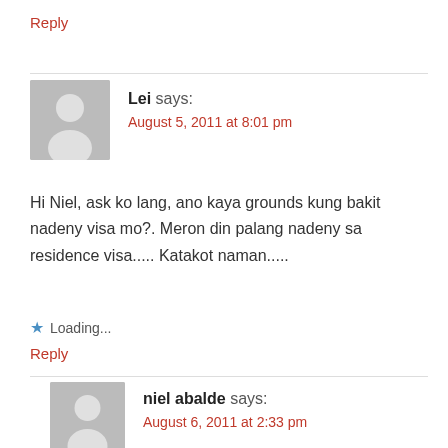Reply
Lei says:
August 5, 2011 at 8:01 pm
Hi Niel, ask ko lang, ano kaya grounds kung bakit nadeny visa mo?. Meron din palang nadeny sa residence visa..... Katakot naman.....
Loading...
Reply
niel abalde says:
August 6, 2011 at 2:33 pm